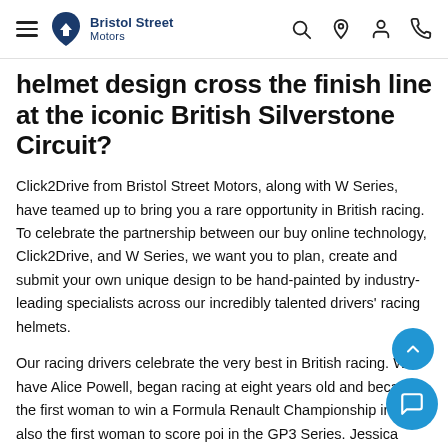Bristol Street Motors
helmet design cross the finish line at the iconic British Silverstone Circuit?
Click2Drive from Bristol Street Motors, along with W Series, have teamed up to bring you a rare opportunity in British racing. To celebrate the partnership between our buy online technology, Click2Drive, and W Series, we want you to plan, create and submit your own unique design to be hand-painted by industry-leading specialists across our incredibly talented drivers' racing helmets.
Our racing drivers celebrate the very best in British racing. We have Alice Powell, began racing at eight years old and became the first woman to win a Formula Renault Championship in 2010, also the first woman to score poi in the GP3 Series. Jessica Hawkins, took the British Ka Championship aged just 12 years old, progressing to